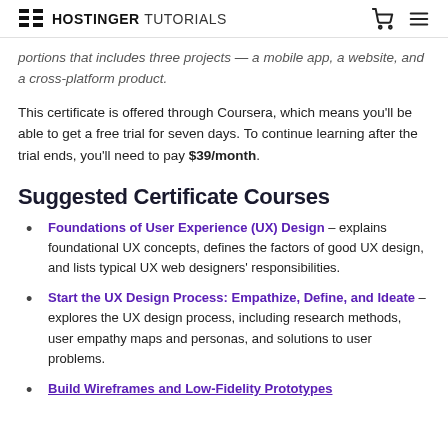HOSTINGER TUTORIALS
portions that includes three projects — a mobile app, a website, and a cross-platform product.
This certificate is offered through Coursera, which means you'll be able to get a free trial for seven days. To continue learning after the trial ends, you'll need to pay $39/month.
Suggested Certificate Courses
Foundations of User Experience (UX) Design – explains foundational UX concepts, defines the factors of good UX design, and lists typical UX web designers' responsibilities.
Start the UX Design Process: Empathize, Define, and Ideate – explores the UX design process, including research methods, user empathy maps and personas, and solutions to user problems.
Build Wireframes and Low-Fidelity Prototypes